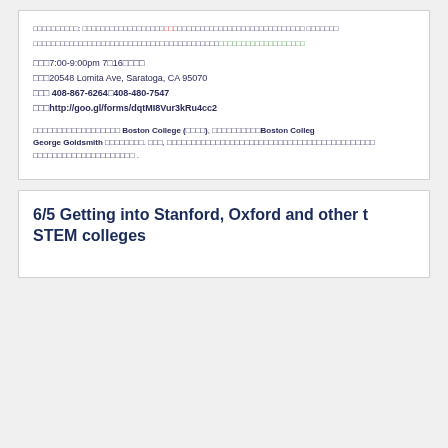□□□□□□□□□□: □□□□□□□□□□□□□□□□□□□□□□□□□□□□□□□□□□□□□□□□□□□□ □□□□□□□
□□□□□□□□□□□□□□□□□□□□□□□□□□□□□□□□□□□□□□□□□□□□□□□□□□□□□□□□□□□□□□□
□□□7:00-9:00pm 7□16□□□□
□□□20548 Lomita Ave, Saratoga, CA 95070
□□□ 408-867-6264□408-480-7547
□□□http://goo.gl/forms/dqtMI8Vur3kRu4cc2
□□□□□□□□□□□□□□□□□□ Boston College (□□□□), □□□□□□□□□□Boston College George Goldsmith □□□□□□□□. □□□, □□□□□□□□□□□□□□□□□□□□□□□□□□□□□□□□□□□□□□□□□□□□□□□□□□□□□.
6/5 Getting into Stanford, Oxford and other top STEM colleges